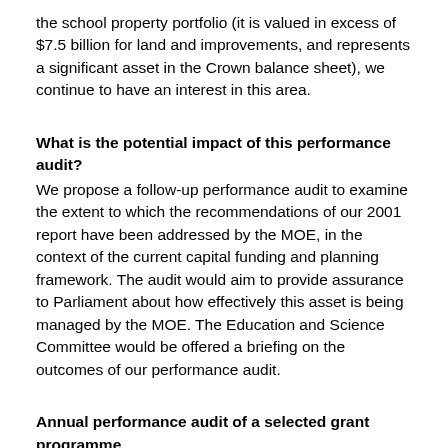the school property portfolio (it is valued in excess of $7.5 billion for land and improvements, and represents a significant asset in the Crown balance sheet), we continue to have an interest in this area.
What is the potential impact of this performance audit?
We propose a follow-up performance audit to examine the extent to which the recommendations of our 2001 report have been addressed by the MOE, in the context of the current capital funding and planning framework. The audit would aim to provide assurance to Parliament about how effectively this asset is being managed by the MOE. The Education and Science Committee would be offered a briefing on the outcomes of our performance audit.
Annual performance audit of a selected grant programme
Background
Our 2004-05 performance audit of New Zealand Trade and